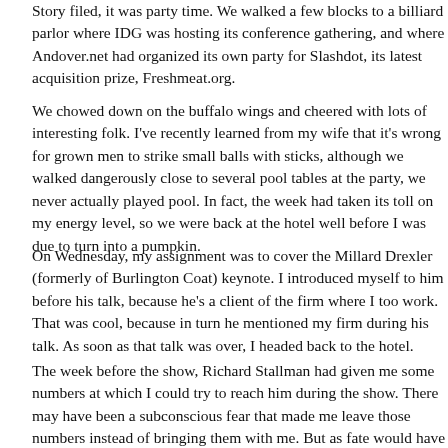Story filed, it was party time. We walked a few blocks to a billiard parlor where IDG was hosting its conference gathering, and where Andover.net had organized its own party for Slashdot, its latest acquisition prize, Freshmeat.org.
We chowed down on the buffalo wings and chatted with lots of interesting folk. I've recently learned from my wife that it's wrong for grown men to strike small balls with sticks, although we walked dangerously close to several pool tables at the party, we never actually played pool. In fact, the week had taken its toll on my energy level, so we were back at the hotel well before I was due to turn into a pumpkin.
On Wednesday, my assignment was to cover the Millard Drexler (formerly of Burlington Coat) keynote. I introduced myself to him before his talk, because he's a client of the firm where I too work. That was cool, because in turn he mentioned my firm during his talk. As soon as that talk was over, I headed back to the hotel.
The week before the show, Richard Stallman had given me some numbers at which I could try to reach him during the show. There may have been a subconscious fear that made me leave those numbers instead of bringing them with me. But as fate would have it, I spotted Richard hanging out at the FSF booth later that afternoon, and I found myself doing the interview in spite of my forgetfulness.